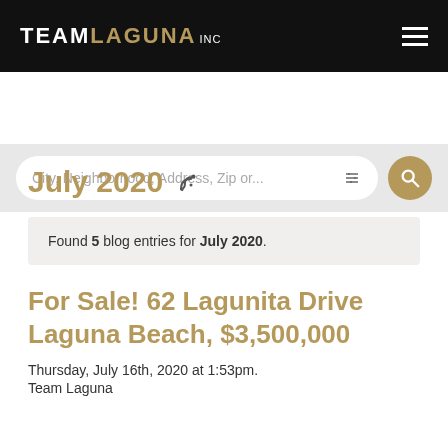TEAM LAGUNA INC
[Figure (screenshot): Search bar with placeholder text 'City, Neighborhood, Address, Zip or...' with filter and search icons]
July 2020
Found 5 blog entries for July 2020.
For Sale! 62 Lagunita Drive Laguna Beach, $3,500,000
Thursday, July 16th, 2020 at 1:53pm.
Team Laguna